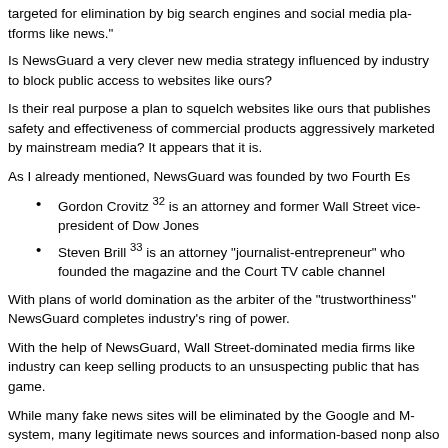targeted for elimination by big search engines and social media platforms like news."
Is NewsGuard a very clever new media strategy influenced by industry to block public access to websites like ours?
Is their real purpose a plan to squelch websites like ours that publish the safety and effectiveness of commercial products aggressively marketed by mainstream media? It appears that it is.
As I already mentioned, NewsGuard was founded by two Fourth Es
Gordon Crovitz 32 is an attorney and former Wall Street vice-president of Dow Jones
Steven Brill 33 is an attorney “journalist-entrepreneur” who founded the magazine and the Court TV cable channel
With plans of world domination as the arbiter of the "trustworthiness" NewsGuard completes industry's ring of power.
With the help of NewsGuard, Wall Street-dominated media firms like industry can keep selling products to an unsuspecting public that has game.
While many fake news sites will be eliminated by the Google and M system, many legitimate news sources and information-based nonp also get buried by it.